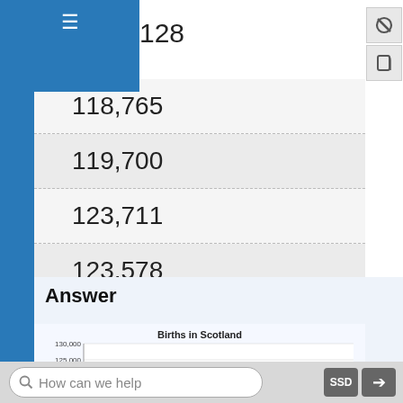| 128 |
| 118,765 |
| 119,700 |
| 123,711 |
| 123,578 |
Answer
[Figure (line-chart): Line chart showing Births in Scotland over time, rising from about 94,000 to about 123,000. Y-axis shows values from 80,000 to 130,000 in 5,000 increments.]
How can we help